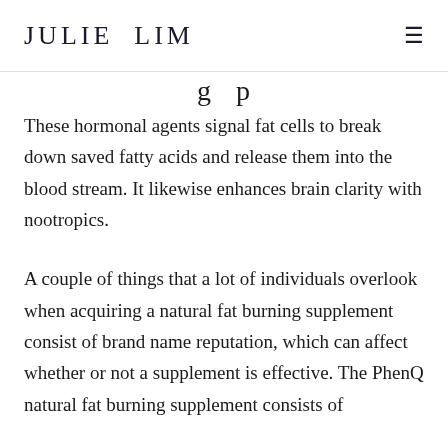JULIE LIM
g p
These hormonal agents signal fat cells to break down saved fatty acids and release them into the blood stream. It likewise enhances brain clarity with nootropics.
A couple of things that a lot of individuals overlook when acquiring a natural fat burning supplement consist of brand name reputation, which can affect whether or not a supplement is effective. The PhenQ natural fat burning supplement consists of